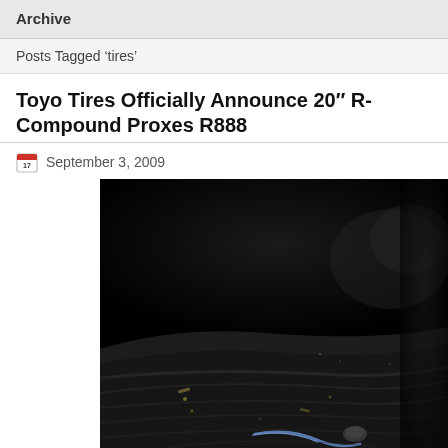Archive
Posts Tagged 'tires'
Toyo Tires Officially Announce 20" R-Compound Proxes R888
September 3, 2009
[Figure (photo): Close-up dark macro photograph of a tire surface with debris and a small blue object, taken in very low light conditions]